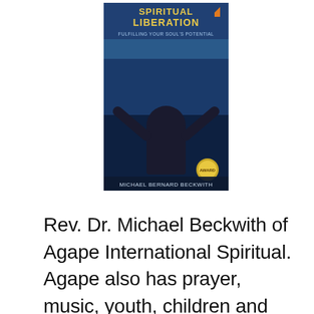[Figure (photo): Book cover of 'Spiritual Liberation' by Michael Bernard Beckwith — shows a person with arms raised against a blue-toned background with the book title at the top and author name at the bottom. A small orange icon appears in the upper right of the cover.]
Rev. Dr. Michael Beckwith of Agape International Spiritual. Agape also has prayer, music, youth, children and family ministries. It has a well-being center and a university offering transformational studies. Agape has a store providing a variety of books, music, service tapes, resources, aromatic oils, candles, clothes and jewelry. Agape International Spiritual Center is based in Culver City, Calif., Agape international Spiritual Center